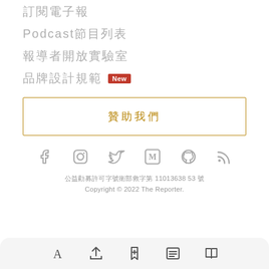訂閱電子報
Podcast節目列表
報導者開放實驗室
品牌設計規範 New
贊助我們
[Figure (infographic): Social media icons: Facebook, Instagram, Twitter, Medium, GitHub, RSS]
公益勸募許可字號衛部救字第 11013638 53 號
Copyright © 2022 The Reporter.
[Figure (infographic): Bottom navigation bar with icons: A (font), share, bookmark, list, book]